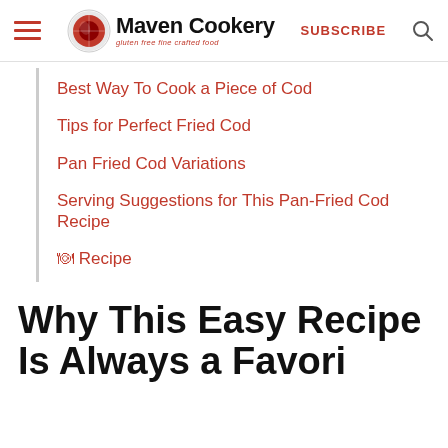Maven Cookery — gluten free fine crafted food | SUBSCRIBE
Best Way To Cook a Piece of Cod
Tips for Perfect Fried Cod
Pan Fried Cod Variations
Serving Suggestions for This Pan-Fried Cod Recipe
🍽 Recipe
Why This Easy Recipe Is Always a Favorite